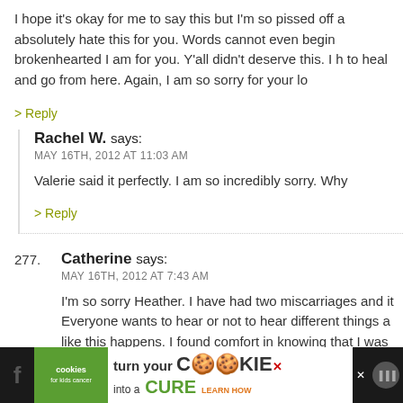I hope it's okay for me to say this but I'm so pissed off a absolutely hate this for you. Words cannot even begin brokenhearted I am for you. Y'all didn't deserve this. I h to heal and go from here. Again, I am so sorry for your lo
> Reply
Rachel W. says:
MAY 16TH, 2012 AT 11:03 AM
Valerie said it perfectly. I am so incredibly sorry. Why
> Reply
277. Catherine says:
MAY 16TH, 2012 AT 7:43 AM
I'm so sorry Heather. I have had two miscarriages and it Everyone wants to hear or not to hear different things a like this happens. I found comfort in knowing that I was that this happens to so many women – many more than
[Figure (screenshot): Advertisement banner: cookies for kids cancer - turn your cookies into a CURE LEARN HOW]